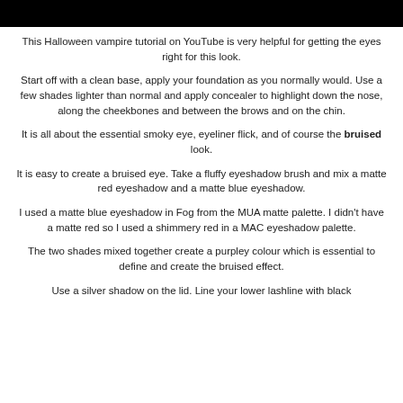[Figure (photo): Black bar at top of page, likely bottom portion of an image above]
This Halloween vampire tutorial on YouTube is very helpful for getting the eyes right for this look.
Start off with a clean base, apply your foundation as you normally would. Use a few shades lighter than normal and apply concealer to highlight down the nose, along the cheekbones and between the brows and on the chin.
It is all about the essential smoky eye, eyeliner flick, and of course the bruised look.
It is easy to create a bruised eye. Take a fluffy eyeshadow brush and mix a matte red eyeshadow and a matte blue eyeshadow.
I used a matte blue eyeshadow in Fog from the MUA matte palette. I didn't have a matte red so I used a shimmery red in a MAC eyeshadow palette.
The two shades mixed together create a purpley colour which is essential to define and create the bruised effect.
Use a silver shadow on the lid. Line your lower lashline with black